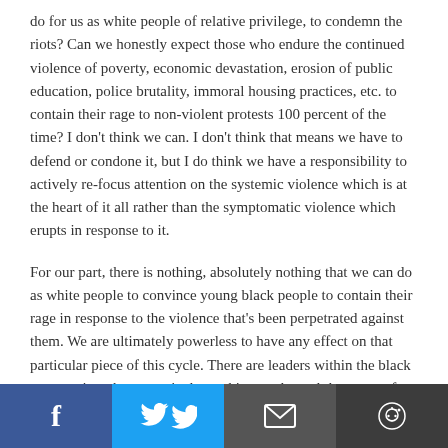do for us as white people of relative privilege, to condemn the riots? Can we honestly expect those who endure the continued violence of poverty, economic devastation, erosion of public education, police brutality, immoral housing practices, etc. to contain their rage to non-violent protests 100 percent of the time? I don't think we can. I don't think that means we have to defend or condone it, but I do think we have a responsibility to actively re-focus attention on the systemic violence which is at the heart of it all rather than the symptomatic violence which erupts in response to it.
For our part, there is nothing, absolutely nothing that we can do as white people to convince young black people to contain their rage in response to the violence that's been perpetrated against them. We are ultimately powerless to have any effect on that particular piece of this cycle. There are leaders within the black community who are actively working to channel the anger of the youth in productive
[Figure (other): Social media share bar with four buttons: Facebook (blue, f icon), Twitter (light blue, bird icon), Email (dark gray, envelope icon), Reddit (dark gray, Reddit alien icon)]